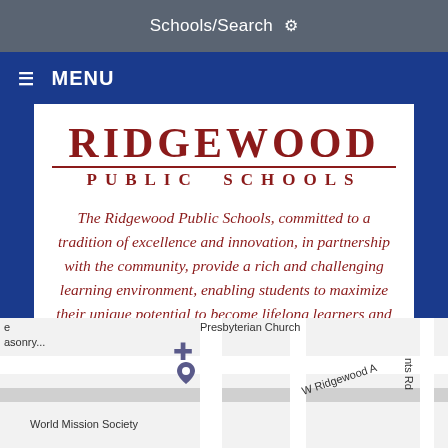Schools/Search ⚙
≡ MENU
[Figure (logo): Ridgewood Public Schools logo with school name in dark red serif font]
The Ridgewood Public Schools, committed to a tradition of excellence and innovation, in partnership with the community, provide a rich and challenging learning environment, enabling students to maximize their unique potential to become lifelong learners and productive, responsible citizens.
[Figure (map): Google Maps snippet showing Presbyterian Church, W Ridgewood Ave, World Mission Society, and surrounding streets]